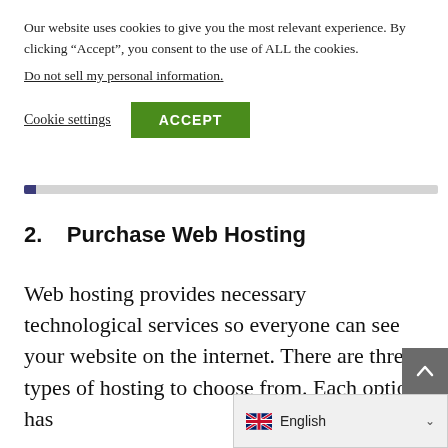Our website uses cookies to give you the most relevant experience. By clicking “Accept”, you consent to the use of ALL the cookies.
Do not sell my personal information.
Cookie settings
ACCEPT
2.    Purchase Web Hosting
Web hosting provides necessary technological services so everyone can see your website on the internet. There are three types of hosting to choose from. Each option has